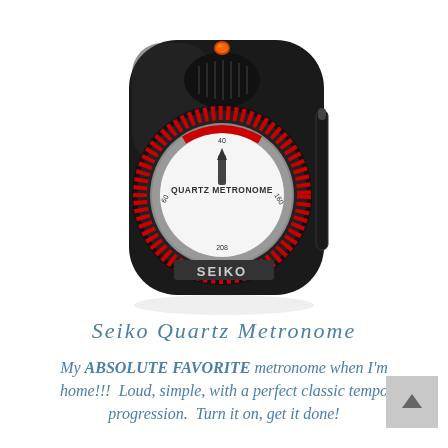[Figure (photo): Seiko Quartz Metronome — a black handheld electronic metronome with a circular red and white dial face labeled 'QUARTZ METRONOME' and 'SEIKO' at the bottom, with a small orange/red indicator light at the top.]
Seiko Quartz Metronome
My ABSOLUTE FAVORITE metronome when I'm home!!!  Loud, simple, with a perfect classic tempo progression.  Turn it on, get it done!